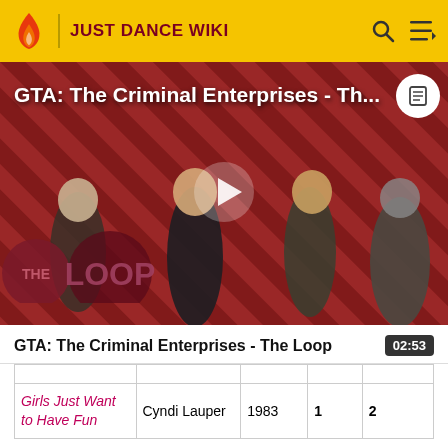JUST DANCE WIKI
[Figure (screenshot): Video thumbnail for GTA: The Criminal Enterprises - The Loop featuring characters on a red diagonal striped background with a play button overlay and The Loop logo]
GTA: The Criminal Enterprises - The Loop
| Girls Just Want to Have Fun | Cyndi Lauper | 1983 | 1 | 2 |